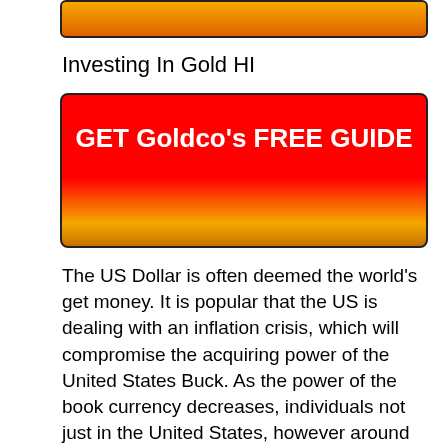[Figure (other): Partial view of a gradient banner button (gold to orange) cropped at top of page]
Investing In Gold HI
[Figure (other): Red and gold gradient call-to-action button with text GET Goldco's FREE GUIDE]
The US Dollar is often deemed the world's get money. It is popular that the US is dealing with an inflation crisis, which will compromise the acquiring power of the United States Buck. As the power of the book currency decreases, individuals not just in the United States, however around the world, are likely to group to the safety of gold and various other precious metals.